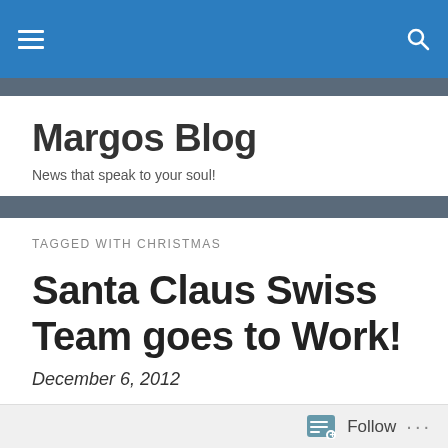Margos Blog navigation bar
Margos Blog
News that speak to your soul!
TAGGED WITH CHRISTMAS
Santa Claus Swiss Team goes to Work!
December 6, 2012
Swiss Kids can now mail their letters to Santa! Santa's Swiss Christ...
Follow